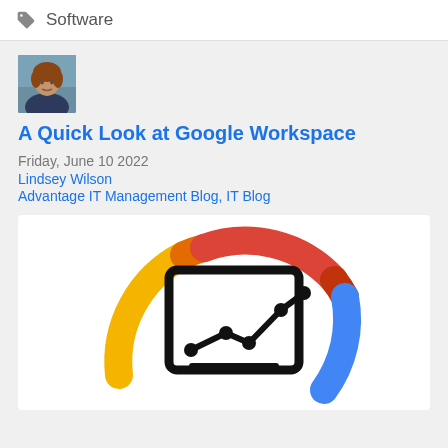Software
[Figure (photo): Author photo of Lindsey Wilson, a woman with short reddish-brown hair]
A Quick Look at Google Workspace
Friday, June 10 2022
Lindsey Wilson
Advantage IT Management Blog, IT Blog
[Figure (illustration): Google Workspace logo graphic showing a circular ring divided into Google brand colors (red, yellow, blue, orange) with a line chart icon (tablet with trending upward line graph) in the center]